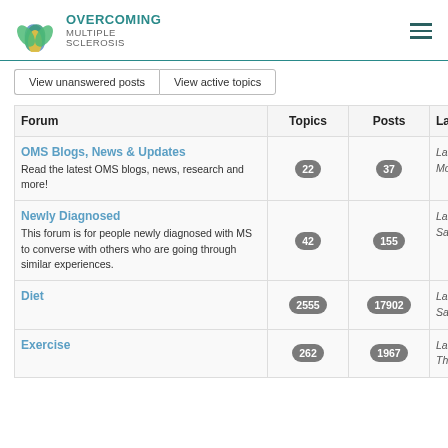OVERCOMING MULTIPLE SCLEROSIS
View unanswered posts | View active topics
| Forum | Topics | Posts | Las |
| --- | --- | --- | --- |
| OMS Blogs, News & Updates
Read the latest OMS blogs, news, research and more! | 22 | 37 | Last
Mon |
| Newly Diagnosed
This forum is for people newly diagnosed with MS to converse with others who are going through similar experiences. | 42 | 155 | Last
Sat A |
| Diet | 2555 | 17902 | Last
Sat S |
| Exercise | 262 | 1967 | Last
Thu |